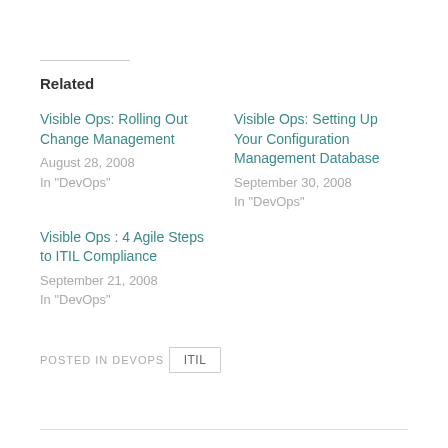Related
Visible Ops: Rolling Out Change Management
August 28, 2008
In "DevOps"
Visible Ops: Setting Up Your Configuration Management Database
September 30, 2008
In "DevOps"
Visible Ops : 4 Agile Steps to ITIL Compliance
September 21, 2008
In "DevOps"
POSTED IN DEVOPS
ITIL